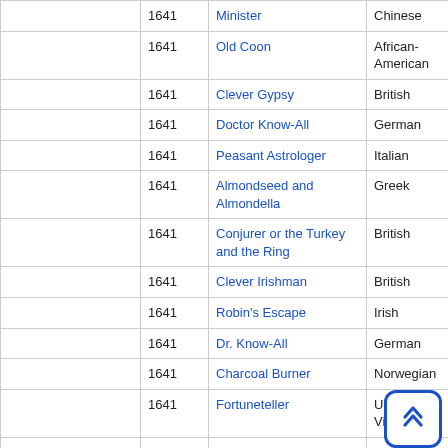| ATU Category | Year | Title | Origin |
| --- | --- | --- | --- |
|  | 1641 | Minister | Chinese |
|  | 1641 | Old Coon | African-American |
|  | 1641 | Clever Gypsy | British |
|  | 1641 | Doctor Know-All | German |
|  | 1641 | Peasant Astrologer | Italian |
|  | 1641 | Almondseed and Almondella | Greek |
|  | 1641 | Conjurer or the Turkey and the Ring | British |
|  | 1641 | Clever Irishman | British |
|  | 1641 | Robin's Escape | Irish |
|  | 1641 | Dr. Know-All | German |
|  | 1641 | Charcoal Burner | Norwegian |
|  | 1641 | Fortuneteller | US West Virginia |
|  | 1641 | Idle Ahmad | Arab |
| ATU 1642 The Good Bargain | 1642 | The Good Bargain | German |
|  | 1642 | Irismen and the Frogs | African-American |